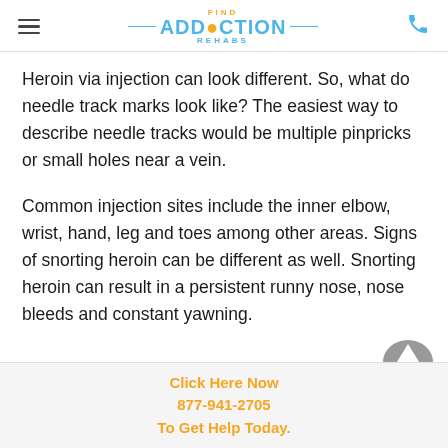FIND ADDICTION REHABS
Heroin via injection can look different. So, what do needle track marks look like? The easiest way to describe needle tracks would be multiple pinpricks or small holes near a vein.
Common injection sites include the inner elbow, wrist, hand, leg and toes among other areas. Signs of snorting heroin can be different as well. Snorting heroin can result in a persistent runny nose, nose bleeds and constant yawning.
Click Here Now 877-941-2705 To Get Help Today.